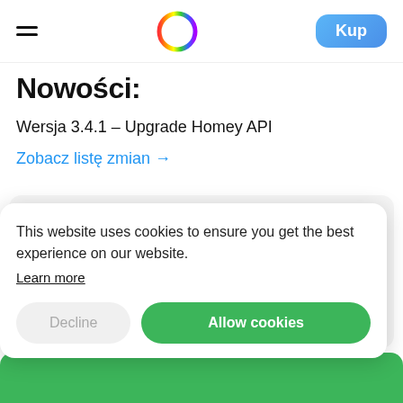Hamburger menu | Homey logo | Kup
Nowości:
Wersja 3.4.1 – Upgrade Homey API
Zobacz listę zmian →
| Działa na | Zaktualizowano |
| --- | --- |
This website uses cookies to ensure you get the best experience on our website. Learn more
Decline | Allow cookies